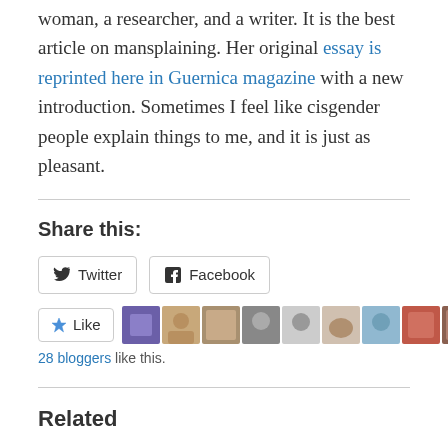woman, a researcher, and a writer. It is the best article on mansplaining. Her original essay is reprinted here in Guernica magazine with a new introduction. Sometimes I feel like cisgender people explain things to me, and it is just as pleasant.
Share this:
[Figure (other): Twitter and Facebook share buttons]
[Figure (other): Like button with 28 blogger avatars]
28 bloggers like this.
Related
Mr. Jones
June 30, 2015
In "Authenticity"